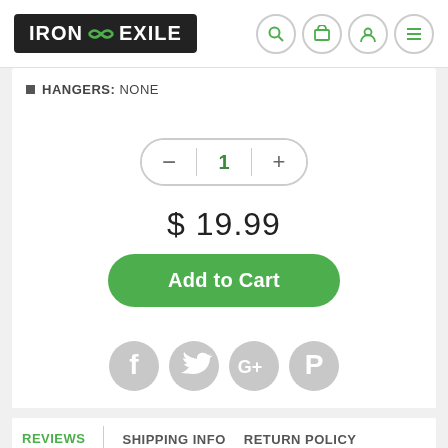IRON EXILE
HANGERS: NONE
1
$19.99
Add to Cart
[Figure (illustration): Social media icons: Facebook, Twitter, Google+, Pinterest — gray circular icons]
REVIEWS
SHIPPING INFO
RETURN POLICY
ASK A QUESTION